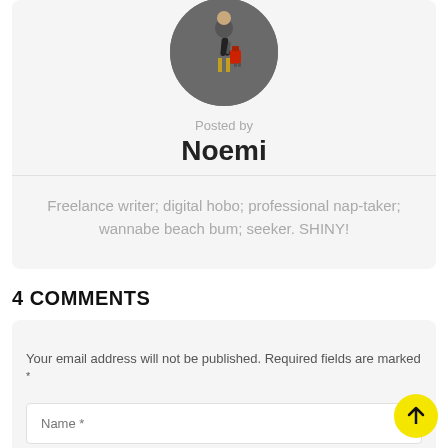[Figure (photo): Circular avatar photo of a person walking with luggage on a street]
Posted by
Noemi
Freelance writer; digital hobo; professional nap-taker; wannabe beach bum; seeker. SHINY!
4 COMMENTS
Your email address will not be published. Required fields are marked *
Name *
Email *